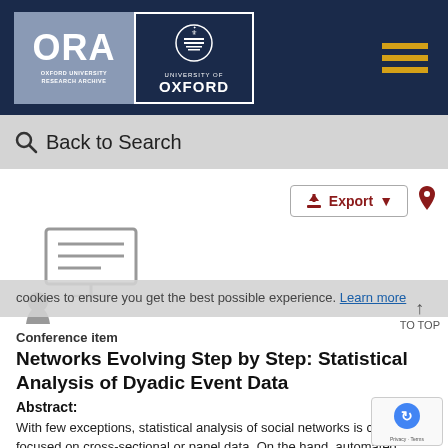[Figure (logo): ORA Oxford University Research Archive logo and University of Oxford crest logo on dark navy header bar with hamburger menu icon]
Back to Search
[Figure (illustration): Gray silhouette icon of a person presenting at a board/screen - conference item icon]
Conference item
Networks Evolving Step by Step: Statistical Analysis of Dyadic Event Data
Abstract:
With few exceptions, statistical analysis of social networks is currently focused on cross-sectional or panel data. On the hand, automated collection of network-data often produc data, I.e., data encoding the exact time of interaction bet...